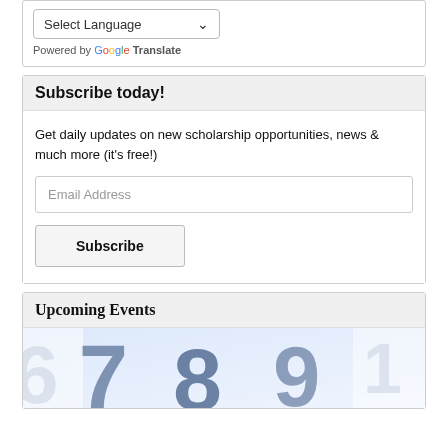[Figure (screenshot): Language selector dropdown showing 'Select Language' with chevron arrow, and 'Powered by Google Translate' text below]
Subscribe today!
Get daily updates on new scholarship opportunities, news & much more (it's free!)
[Figure (screenshot): Email Address input field (text input box)]
[Figure (screenshot): Subscribe button]
Upcoming Events
[Figure (photo): Close-up photo of a calendar showing numbers 6, 7, 8, 9 in dark blue on white background, slightly blurred/bokeh effect]